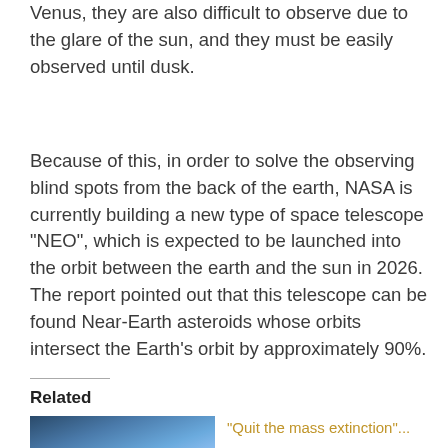Venus, they are also difficult to observe due to the glare of the sun, and they must be easily observed until dusk.
Because of this, in order to solve the observing blind spots from the back of the earth, NASA is currently building a new type of space telescope “NEO”, which is expected to be launched into the orbit between the earth and the sun in 2026. The report pointed out that this telescope can be found Near-Earth asteroids whose orbits intersect the Earth’s orbit by approximately 90%.
.
Related
[Figure (photo): A blue-toned sky or space photograph thumbnail]
“Quit the mass extinction”...